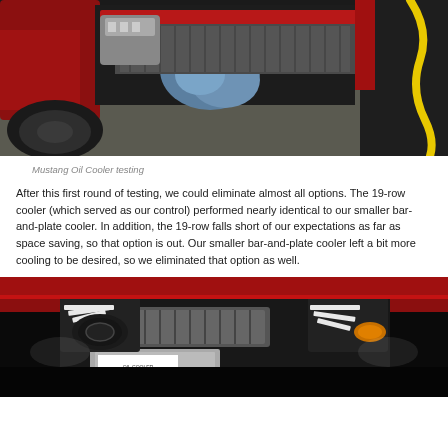[Figure (photo): Photo of a red Ford Mustang with front end partially disassembled, showing oil cooler testing setup in a garage. Yellow hose visible on right side.]
Mustang Oil Cooler testing
After this first round of testing, we could eliminate almost all options. The 19-row cooler (which served as our control) performed nearly identical to our smaller bar-and-plate cooler. In addition, the 19-row falls short of our expectations as far as space saving, so that option is out. Our smaller bar-and-plate cooler left a bit more cooling to be desired, so we eliminated that option as well.
[Figure (photo): Close-up photo of a red Ford Mustang engine bay at night, showing headlights illuminated and what appears to be an intercooler or oil cooler mounted in front, with a supercharger visible.]